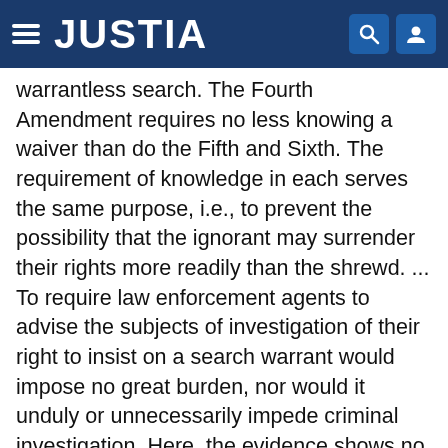JUSTIA
warrantless search. The Fourth Amendment requires no less knowing a waiver than do the Fifth and Sixth. The requirement of knowledge in each serves the same purpose, i.e., to prevent the possibility that the ignorant may surrender their rights more readily than the shrewd. ... To require law enforcement agents to advise the subjects of investigation of their right to insist on a search warrant would impose no great burden, nor would it unduly or unnecessarily impede criminal investigation. Here, the evidence shows no such warning, nor is there any other evidence that Blalock was aware of his Fourth Amendment right. It cannot be said, then, that the Government has sustained its burden of showing that there was an intelligent waiver of a known right. Commonwealth of Pennsylvania ex rel. Whiting v. Cavell (M.D. Pa. 1965) 244 F. Supp. 560, 567, aff'd per curiam (3d Cir. 1966) 358 F.2d 132. This being